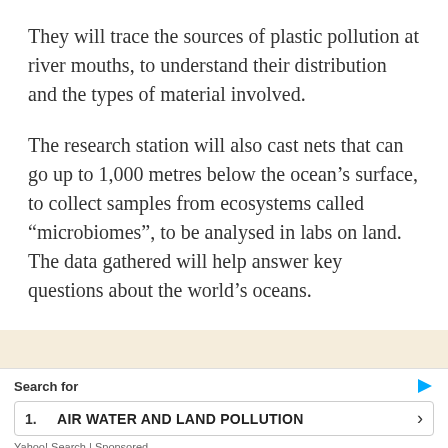They will trace the sources of plastic pollution at river mouths, to understand their distribution and the types of material involved.
The research station will also cast nets that can go up to 1,000 metres below the ocean’s surface, to collect samples from ecosystems called “microbiomes”, to be analysed in labs on land. The data gathered will help answer key questions about the world’s oceans.
[Figure (other): Advertisement area with beige/cream background, partially loaded or blank ad content with a close (X) button in the bottom-right corner.]
Search for
1. AIR WATER AND LAND POLLUTION
Yahoo! Search | Sponsored